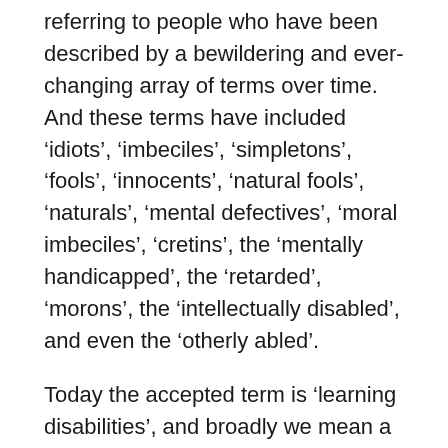referring to people who have been described by a bewildering and ever-changing array of terms over time. And these terms have included 'idiots', 'imbeciles', 'simpletons', 'fools', 'innocents', 'natural fools', 'naturals', 'mental defectives', 'moral imbeciles', 'cretins', the 'mentally handicapped', the 'retarded', 'morons', the 'intellectually disabled', and even the 'otherly abled'.
Today the accepted term is 'learning disabilities', and broadly we mean a group who are characterised as having some sort of mental deficit, which they have from birth, which can affect their understanding and lead to problems in carrying out the functions of daily life. It's different to mental illness which broadly affects people who have previously seen as 'normal' and who might